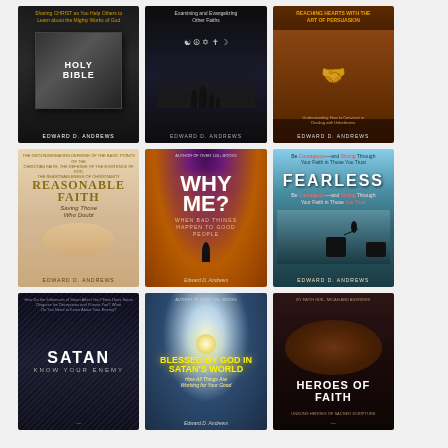[Figure (photo): Book cover: Holy Bible - Sharing CHRIST as You Help Others to Learn about the Mighty Works of God, by Edward D. Andrews. Black cover with Holy Bible text.]
[Figure (photo): Book cover: Examining and Evangelizing Other Faiths, by Edward D. Andrews. Dark cover with religious symbols and silhouettes.]
[Figure (photo): Book cover: Reaching Hearts with the Art of Persuasion, by Edward D. Andrews. Brown cover with clasped hands.]
[Figure (photo): Book cover: Reasonable Faith - Saving Those Who Doubt, by Edward D. Andrews. Light beige cover with reaching hands.]
[Figure (photo): Book cover: Why Me? When Bad Things Happen to Good People, by Edward D. Andrews. Dark cosmic cover with lone figure.]
[Figure (photo): Book cover: Fearless - Be Courageous and Strong Through Your Faith in Those You Trust, by Edward D. Andrews. Sky cover with figure jumping between cliffs.]
[Figure (photo): Book cover: Satan - Know Your Enemy, by Edward D. Andrews. Dark cover with textured background.]
[Figure (photo): Book cover: Blessed by God in Satan's World - How All Things Are Working for Your Good, by Edward D. Andrews. Dark cover with moon over water.]
[Figure (photo): Book cover: Heroes of Faith, by Faith Girl, Micah and Andrews. Dark cover with hands.]